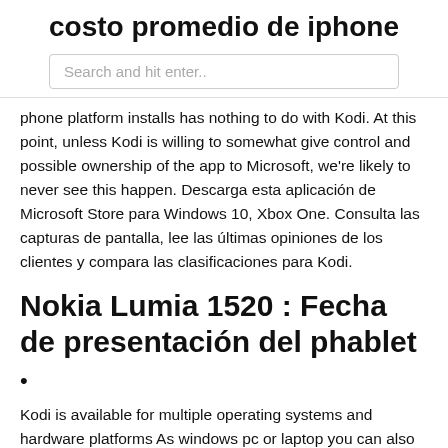costo promedio de iphone
Search and hit enter..
phone platform installs has nothing to do with Kodi. At this point, unless Kodi is willing to somewhat give control and possible ownership of the app to Microsoft, we're likely to never see this happen. Descarga esta aplicación de Microsoft Store para Windows 10, Xbox One. Consulta las capturas de pantalla, lee las últimas opiniones de los clientes y compara las clasificaciones para Kodi.
Nokia Lumia 1520 : Fecha de presentación del phablet
•
Kodi is available for multiple operating systems and hardware platforms As windows pc or laptop you can also install kodi to your windows phone. The easiest way for installing kodi on windows phone is download it from microsoft store. We show